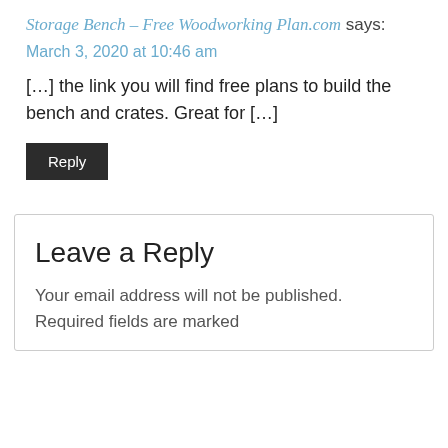Storage Bench – Free Woodworking Plan.com says:
March 3, 2020 at 10:46 am
[…] the link you will find free plans to build the bench and crates. Great for […]
Reply
Leave a Reply
Your email address will not be published. Required fields are marked